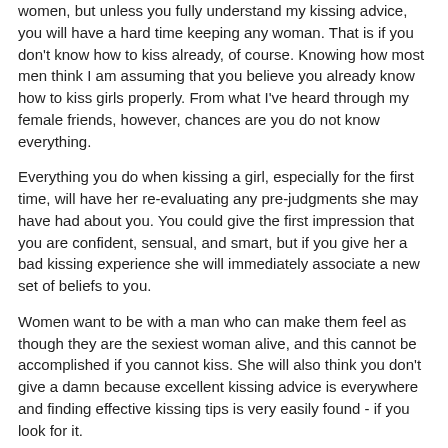women, but unless you fully understand my kissing advice, you will have a hard time keeping any woman. That is if you don't know how to kiss already, of course. Knowing how most men think I am assuming that you believe you already know how to kiss girls properly. From what I've heard through my female friends, however, chances are you do not know everything.
Everything you do when kissing a girl, especially for the first time, will have her re-evaluating any pre-judgments she may have had about you. You could give the first impression that you are confident, sensual, and smart, but if you give her a bad kissing experience she will immediately associate a new set of beliefs to you.
Women want to be with a man who can make them feel as though they are the sexiest woman alive, and this cannot be accomplished if you cannot kiss. She will also think you don't give a damn because excellent kissing advice is everywhere and finding effective kissing tips is very easily found - if you look for it.
Learning how to kiss girls goes far deeper than applying a bunch of kissing tips on her, though. In order to blow any woman away with your lips you have got to know when and how to execute those kissing tips . The mood and timing play a major factor and if not carefully executed it won't matter whether you are a kissing master because she cannot fully enjoy it!
Men are so much different than women and when it comes to kissing, they are TOTALLY different. A man will enjoy any kiss a woman he is interested gives him, even if it's a bad kiss. I have slept with many girls who couldn't kiss worth a